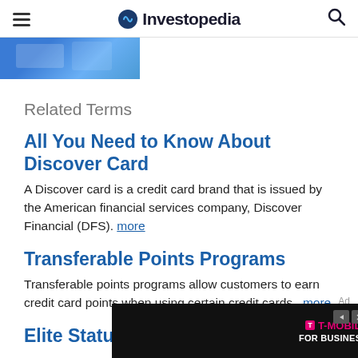Investopedia
[Figure (photo): Partial hero image, blue building exterior]
Related Terms
All You Need to Know About Discover Card
A Discover card is a credit card brand that is issued by the American financial services company, Discover Financial (DFS). more
Transferable Points Programs
Transferable points programs allow customers to earn credit card points when using certain credit cards. more
Elite Status
[Figure (screenshot): T-Mobile for Business advertisement banner at bottom of page]